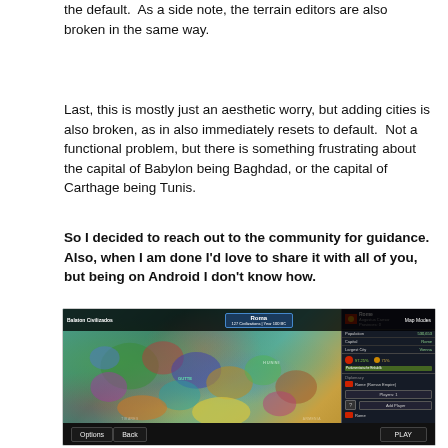the default.  As a side note, the terrain editors are also broken in the same way.
Last, this is mostly just an aesthetic worry, but adding cities is also broken, as in also immediately resets to default.  Not a functional problem, but there is something frustrating about the capital of Babylon being Baghdad, or the capital of Carthage being Tunis.
So I decided to reach out to the community for guidance. Also, when I am done I'd love to share it with all of you, but being on Android I don't know how.
[Figure (screenshot): Screenshot of a strategy game (Civilization-style) showing a colorful map of Europe and the Mediterranean with a Rome civilization panel on the right side showing Augustus Caesar, population, capital Rome, largest city Vienna, diplomacy info, and player options. Bottom bar has Options, Back, and PLAY buttons.]